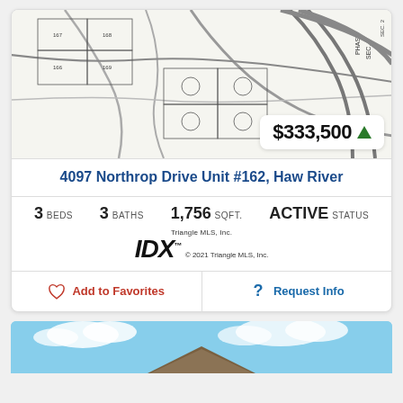[Figure (map): Plat/survey map showing lot layout for Northrop Drive development, with lot lines, parcel numbers, and street names visible.]
$333,500 ▲
4097 Northrop Drive Unit #162, Haw River
3 BEDS   3 BATHS   1,756 SQFT.   ACTIVE STATUS
[Figure (logo): Triangle MLS, Inc. IDX logo with copyright © 2021 Triangle MLS, Inc.]
Add to Favorites
Request Info
[Figure (photo): Exterior photo of a house showing roof peak against blue sky with clouds.]